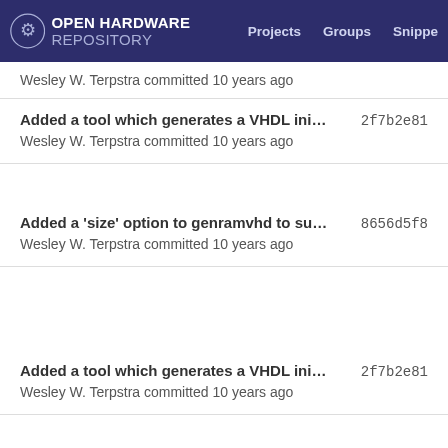OPEN HARDWARE REPOSITORY  Projects  Groups  Snippets
Wesley W. Terpstra committed 10 years ago
Added a tool which generates a VHDL initia...  2f7b2e81
Wesley W. Terpstra committed 10 years ago
Added a 'size' option to genramvhd to sup...  8656d5f8
Wesley W. Terpstra committed 10 years ago
Added a tool which generates a VHDL initia...  2f7b2e81
Wesley W. Terpstra committed 10 years ago